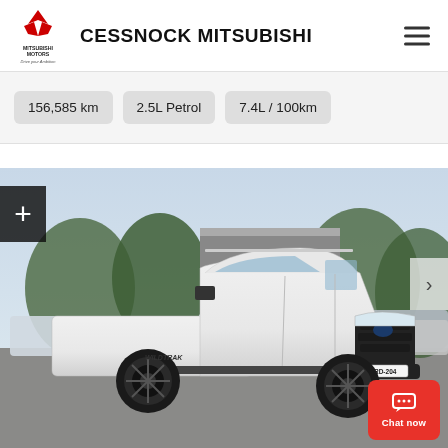CESSNOCK MITSUBISHI
156,585 km   2.5L Petrol   7.4L / 100km
[Figure (photo): White Ford Ranger Wildtrak dual-cab ute parked in a dealership lot with trees in the background. License plate ERD-204.]